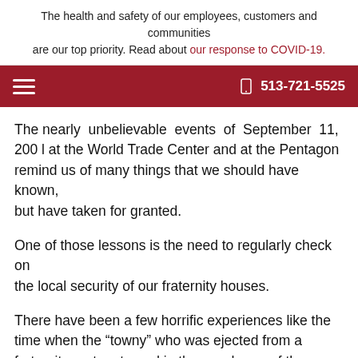The health and safety of our employees, customers and communities are our top priority. Read about our response to COVID-19.
513-721-5525
The nearly unbelievable events of September 11, 2001 at the World Trade Center and at the Pentagon remind us of many things that we should have known, but have taken for granted.
One of those lessons is the need to regularly check on the local security of our fraternity houses.
There have been a few horrific experiences like the time when the “towny” who was ejected from a fraternity party returned in the wee hours of the morning and set the house on fire at Indiana University or when homicidal Ted Bundy invaded a sorority house at Florida State University in Tallahassee, Florida. Generally, we think of our fraternity houses as safe